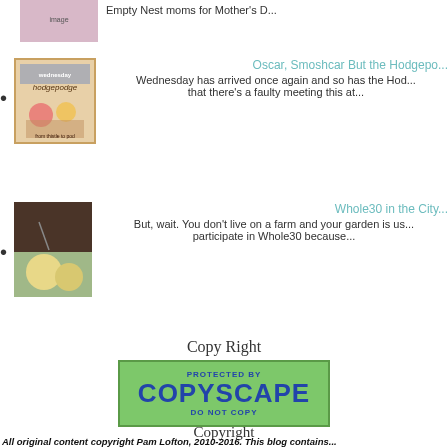Empty Nest moms for Mother's D...
Oscar, Smoshcar But the Hodgepod... Wednesday has arrived once again and so has the Hod... that there's a faulty meeting this at...
Whole30 in the City... But, wait. You don't live on a farm and your garden is us... participate in Whole30 because...
Copy Right
[Figure (other): Copyscape Protected - Do Not Copy badge, green background with blue text]
Copyright
All original content copyright Pam Lofton, 2010-2016. This blog contains...